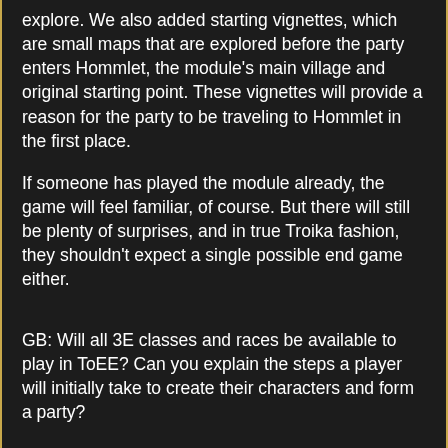explore. We also added starting vignettes, which are small maps that are explored before the party enters Hommlet, the module's main village and original starting point. These vignettes will provide a reason for the party to be traveling to Hommlet in the first place.
If someone has played the module already, the game will feel familiar, of course. But there will still be plenty of surprises, and in true Troika fashion, they shouldn't expect a single possible end game either.
GB: Will all 3E classes and races be available to play in ToEE? Can you explain the steps a player will initially take to create their characters and form a party?